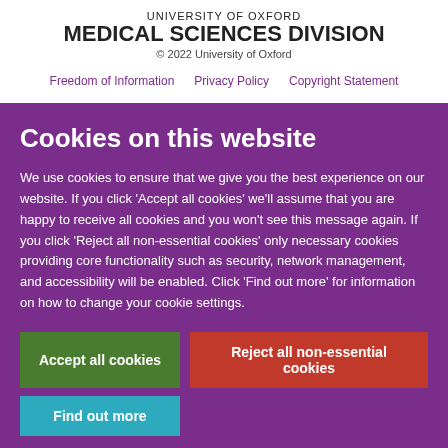UNIVERSITY OF OXFORD
MEDICAL SCIENCES DIVISION
© 2022 University of Oxford
Freedom of Information   Privacy Policy   Copyright Statement
Cookies on this website
We use cookies to ensure that we give you the best experience on our website. If you click 'Accept all cookies' we'll assume that you are happy to receive all cookies and you won't see this message again. If you click 'Reject all non-essential cookies' only necessary cookies providing core functionality such as security, network management, and accessibility will be enabled. Click 'Find out more' for information on how to change your cookie settings.
Accept all cookies   Reject all non-essential cookies   Find out more